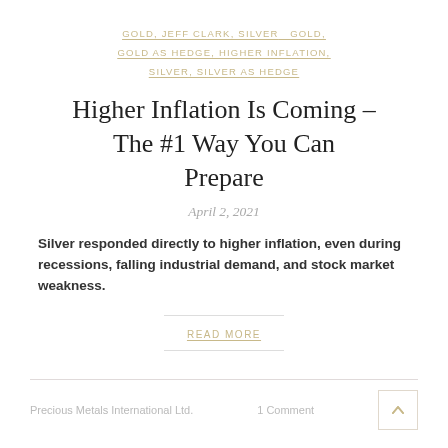GOLD, JEFF CLARK, SILVER   GOLD, GOLD AS HEDGE, HIGHER INFLATION, SILVER, SILVER AS HEDGE
Higher Inflation Is Coming – The #1 Way You Can Prepare
April 2, 2021
Silver responded directly to higher inflation, even during recessions, falling industrial demand, and stock market weakness.
READ MORE
Precious Metals International Ltd.   1 Comment